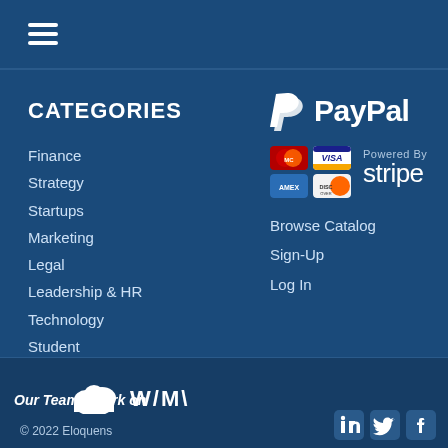Navigation menu (hamburger icon)
CATEGORIES
Finance
Strategy
Startups
Marketing
Legal
Leadership & HR
Technology
Student
Other
[Figure (logo): PayPal logo with white P icon and PayPal wordmark]
[Figure (logo): Payment cards: MasterCard, VISA, American Express, Discover — and Powered By Stripe logo]
Browse Catalog
Sign-Up
Log In
Our Teams Work on WIMI (cloud logo)
© 2022 Eloquens
[Figure (logo): LinkedIn, Twitter, Facebook social media icons]